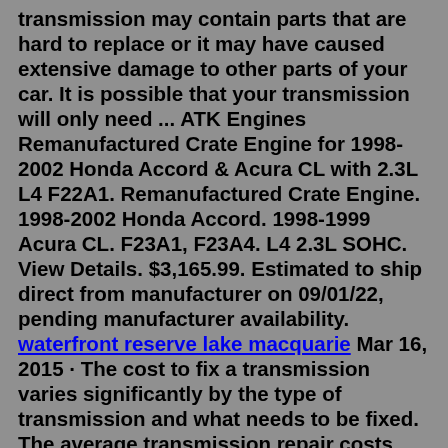transmission may contain parts that are hard to replace or it may have caused extensive damage to other parts of your car. It is possible that your transmission will only need ... ATK Engines Remanufactured Crate Engine for 1998-2002 Honda Accord & Acura CL with 2.3L L4 F22A1. Remanufactured Crate Engine. 1998-2002 Honda Accord. 1998-1999 Acura CL. F23A1, F23A4. L4 2.3L SOHC. View Details. $3,165.99. Estimated to ship direct from manufacturer on 09/01/22, pending manufacturer availability. waterfront reserve lake macquarie Mar 16, 2015 · The cost to fix a transmission varies significantly by the type of transmission and what needs to be fixed. The average transmission repair costs $1500 to $5000 in 2020 for most domestic vehicle makes and models in the United States. Major transmission repairs can easily cost $1000 to $2000 in labor alone and may take as little as a few days or ... Restores the sealing surface on worn shafts and yokes Eliminates the need to replace expensive components that are otherwise